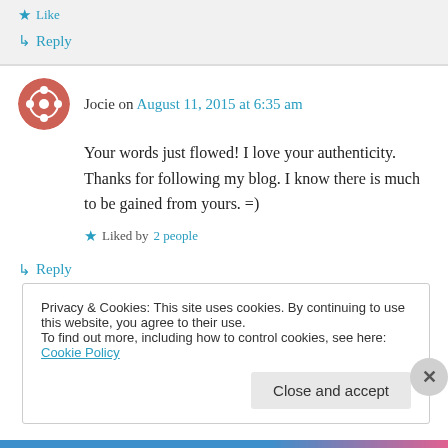★ Like
↳ Reply
Jocie on August 11, 2015 at 6:35 am
Your words just flowed! I love your authenticity. Thanks for following my blog. I know there is much to be gained from yours. =)
★ Liked by 2 people
↳ Reply
Privacy & Cookies: This site uses cookies. By continuing to use this website, you agree to their use.
To find out more, including how to control cookies, see here: Cookie Policy
Close and accept